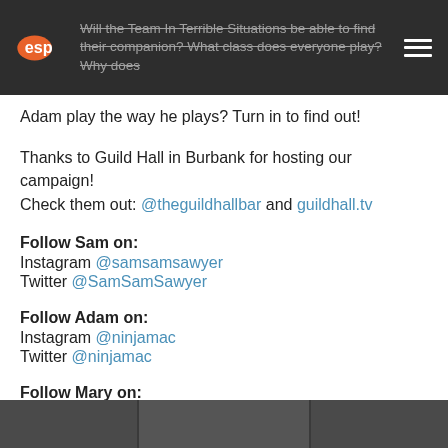Will the Team In Terrible Situations be able to find their companion? What class does everyone play? Why does Adam play the way he plays? Turn in to find out!
Adam play the way he plays? Turn in to find out!
Thanks to Guild Hall in Burbank for hosting our campaign! Check them out: @theguildhallbar and guildhall.tv
Follow Sam on:
Instagram @samsamsawyer
Twitter @SamSamSawyer
Follow Adam on:
Instagram @ninjamac
Twitter @ninjamac
Follow Mary on:
Instagram @maryhellscream
Twitter @MaryHellScream